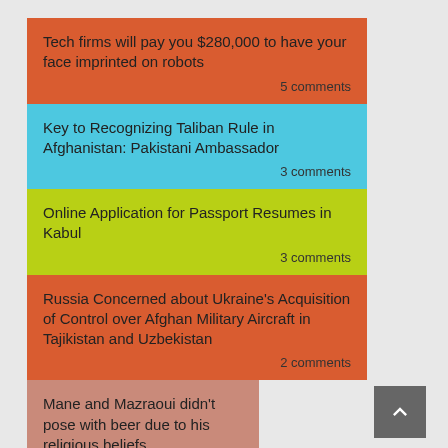Tech firms will pay you $280,000 to have your face imprinted on robots
Key to Recognizing Taliban Rule in Afghanistan: Pakistani Ambassador
Online Application for Passport Resumes in Kabul
Russia Concerned about Ukraine's Acquisition of Control over Afghan Military Aircraft in Tajikistan and Uzbekistan
Mane and Mazraoui didn't pose with beer due to his religious beliefs